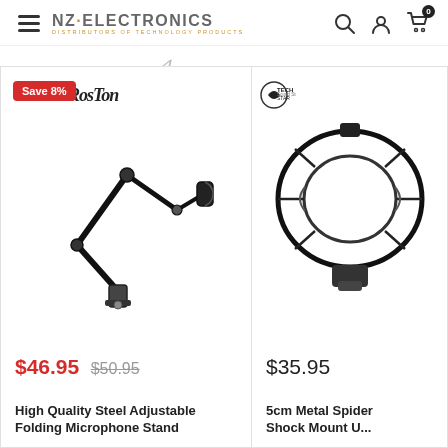NZ+ELECTRONICS | DISTRIBUTORS OF TECHNOLOGY PRODUCTS
[Figure (screenshot): Product image of SzRosTon High Quality Steel Adjustable Folding Microphone Stand, black articulating arm stand]
Save 8%
$46.95  $50.95
High Quality Steel Adjustable Folding Microphone Stand
[Figure (screenshot): Product image of 5cm Metal Spider Shock Mount, black spider microphone mount]
$35.95
5cm Metal Spider Shock Mount U...